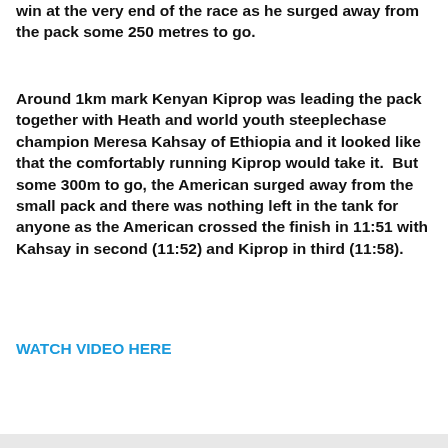win at the very end of the race as he surged away from the pack some 250 metres to go.
Around 1km mark Kenyan Kiprop was leading the pack together with Heath and world youth steeplechase champion Meresa Kahsay of Ethiopia and it looked like that the comfortably running Kiprop would take it.  But some 300m to go, the American surged away from the small pack and there was nothing left in the tank for anyone as the American crossed the finish in 11:51 with Kahsay in second (11:52) and Kiprop in third (11:58).
WATCH VIDEO HERE